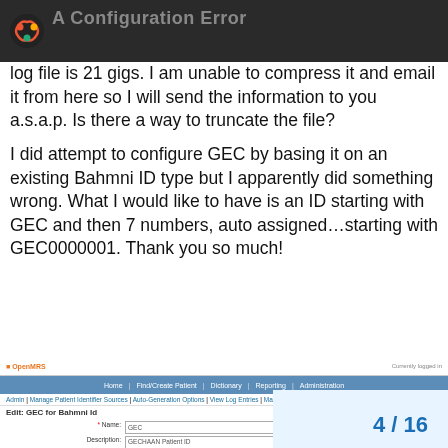A Configuration Error
log file is 21 gigs. I am unable to compress it and email it from here so I will send the information to you a.s.a.p. Is there a way to truncate the file?
I did attempt to configure GEC by basing it on an existing Bahmni ID type but I apparently did something wrong. What I would like to have is an ID starting with GEC and then 7 numbers, auto assigned…starting with GEC0000001. Thank you so much!
[Figure (screenshot): OpenMRS Edit: GEC for Bahmni Id form screenshot showing fields: Name (GEC), Description (GECHAAN Patient ID), Check Digit Algorithm (None), Regular Expression Format (0123456789), Base Character Set (0123456789), First Identifier Base (200000 In Use - Unable to Modify), Prefix (GEC), Suffix (empty), Min Length (4), Max Length (10)]